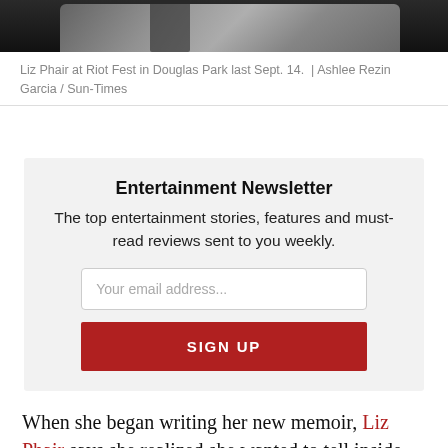[Figure (photo): Bottom portion of a photo showing Liz Phair performing at Riot Fest in Douglas Park, guitar visible against dark background]
Liz Phair at Riot Fest in Douglas Park last Sept. 14.  |  Ashlee Rezin Garcia / Sun-Times
Entertainment Newsletter
The top entertainment stories, features and must-read reviews sent to you weekly.
[email input] Your email address...
[button] SIGN UP
When she began writing her new memoir, Liz Phair says she realized she wanted to tell inside-the-mind